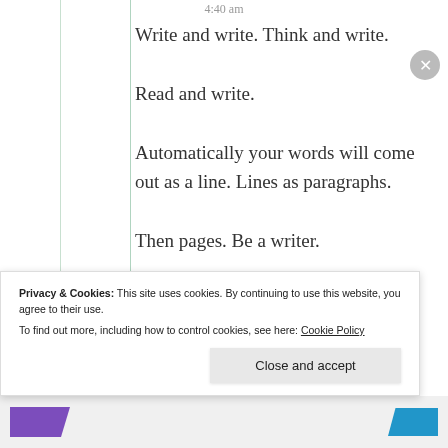4:40 am
Write and write. Think and write.
Read and write.
Automatically your words will come out as a line. Lines as paragraphs.
Then pages. Be a writer.
Enjoy life. Give enjoyment to others.
Privacy & Cookies: This site uses cookies. By continuing to use this website, you agree to their use.
To find out more, including how to control cookies, see here: Cookie Policy
Close and accept